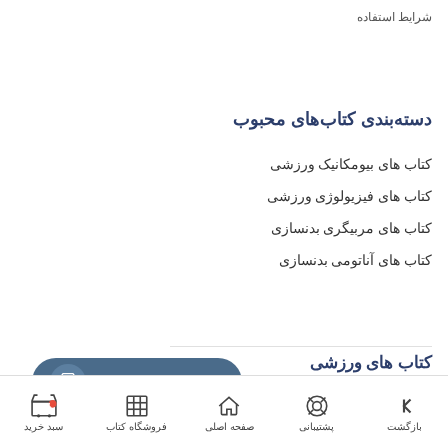شرایط استفاده
دسته‌بندی کتاب‌های محبوب
کتاب های بیومکانیک ورزشی
کتاب های فیزیولوژی ورزشی
کتاب های مربیگری بدنسازی
کتاب های آناتومی بدنسازی
کتاب های ورزشی
کتاب خطوط آناتومی
افزودن به سبد خرید
بازگشت  پشتیبانی  صفحه اصلی  فروشگاه کتاب  سبد خرید